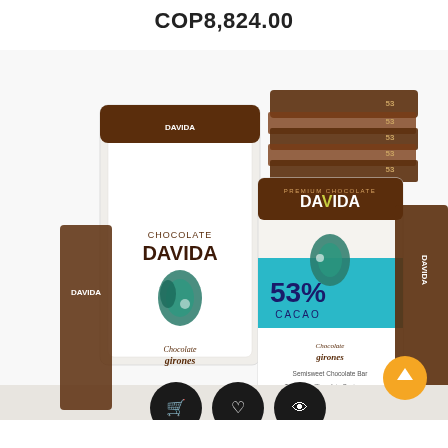COP8,824.00
New
Pack
[Figure (photo): Product photo of Chocolate DAVIDA premium chocolate bars by Girones, showing a white box packaging and multiple stacked chocolate bars with 53% cacao label, teal and brown design.]